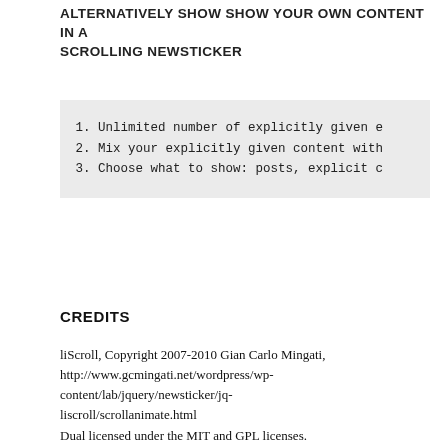ALTERNATIVELY SHOW SHOW YOUR OWN CONTENT IN A SCROLLING NEWSTICKER
1. Unlimited number of explicitly given el
2. Mix your explicitly given content with
3. Choose what to show: posts, explicit co
CREDITS
liScroll, Copyright 2007-2010 Gian Carlo Mingati, http://www.gcmingati.net/wordpress/wp-content/lab/jquery/newsticker/jq-liscroll/scrollanimate.html
Dual licensed under the MIT and GPL licenses.
RP News Ticker, Copyright 2007-2010 Alexander Missa,
http://www.rationalplanet.com